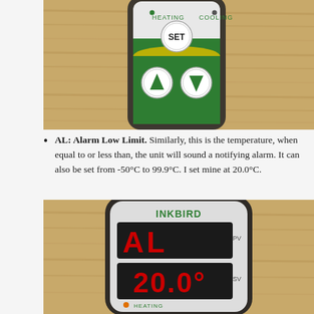[Figure (photo): Close-up photo of a temperature controller device showing SET button and up/down arrow buttons on a green and white panel, placed on a wooden surface]
AL: Alarm Low Limit. Similarly, this is the temperature, when equal to or less than, the unit will sound a notifying alarm. It can also be set from -50°C to 99.9°C. I set mine at 20.0°C.
[Figure (photo): Close-up photo of an INKBIRD temperature controller showing 'AL' on the PV display and '20.0°C' on the SV display in red LED digits, with HEATING label at bottom]